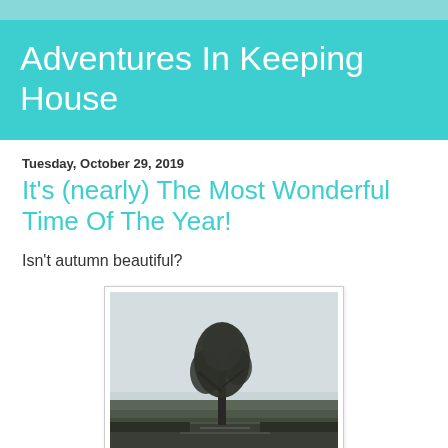Adventures In Keeping House
Tuesday, October 29, 2019
It's (nearly) The Most Wonderful Time Of The Year!
Isn't autumn beautiful?
[Figure (photo): A lone tree standing in a body of water with a grey overcast sky and dark treeline in the background — an autumn landscape scene.]